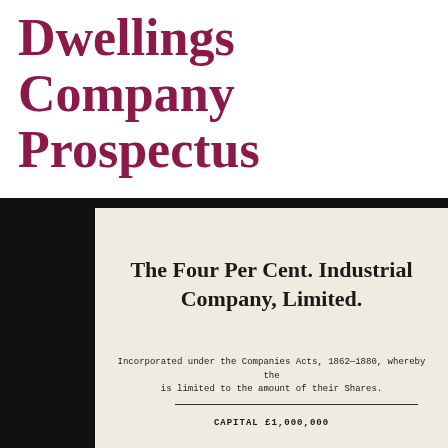Dwellings Company Prospectus
[Figure (photo): Photograph of a historical company prospectus document titled 'The Four Per Cent. Industrial Company, Limited.' Incorporated under the Companies Acts, 1862-1880. Shows beginning of document with decorative typography on aged cream paper with black frame border.]